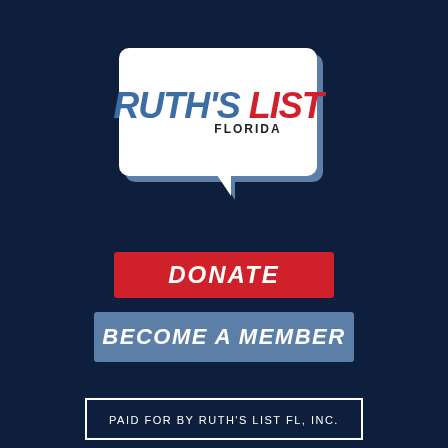[Figure (logo): Ruth's List Florida logo in a speech bubble shape, white bubble with blue shadow/tail. 'RUTH'S' in bold italic blue, 'LIST' in bold italic red, 'FLORIDA' in small dark uppercase letters below.]
DONATE
BECOME A MEMBER
PAID FOR BY RUTH'S LIST FL, INC.